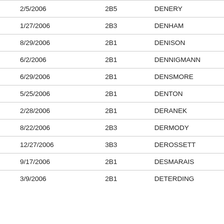| 2/5/2006 | 2B5 | DENERY |
| 1/27/2006 | 2B3 | DENHAM |
| 8/29/2006 | 2B1 | DENISON |
| 6/2/2006 | 2B1 | DENNIGMANN |
| 6/29/2006 | 2B1 | DENSMORE |
| 5/25/2006 | 2B1 | DENTON |
| 2/28/2006 | 2B1 | DERANEK |
| 8/22/2006 | 2B3 | DERMODY |
| 12/27/2006 | 3B3 | DEROSSETT |
| 9/17/2006 | 2B1 | DESMARAIS |
| 3/9/2006 | 2B1 | DETERDING |